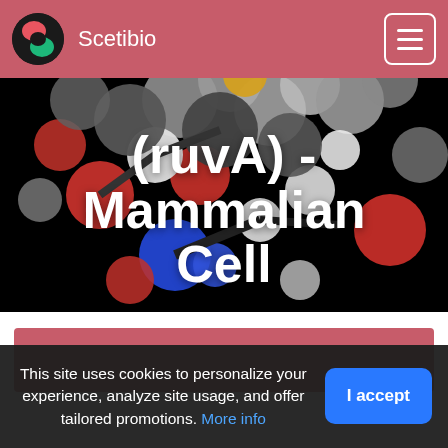Scetibio
[Figure (photo): 3D molecular model with colored spheres (red, white, grey, blue, yellow) representing atoms on a dark/black background. Partial title text '(ruvA) -Mammalian Cell' overlaid in large white bold text.]
(ruvA) -Mammalian Cell
This site uses cookies to personalize your experience, analyze site usage, and offer tailored promotions. More info
I accept